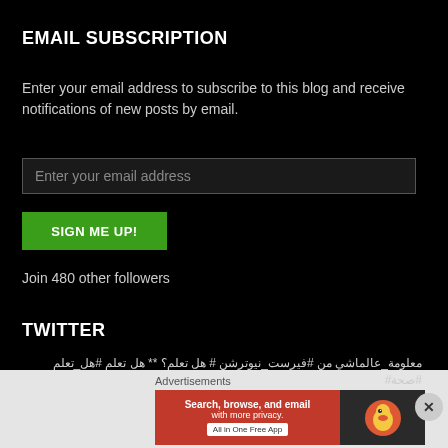EMAIL SUBSCRIPTION
Enter your email address to subscribe to this blog and receive notifications of new posts by email.
Enter your email address
SIGN ME UP!
Join 480 other followers
TWITTER
** هل تعلم؟ #هل_تعلم #صحة من #فيرست_نيوترشن #معلومة_عالماشي
Advertisements
[Figure (screenshot): DuckDuckGo advertisement banner with orange section saying 'Search, browse, and email with more privacy. All in One Free App' and dark section with DuckDuckGo logo]